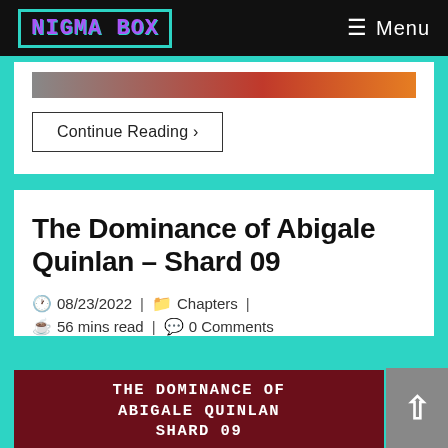NIGMA BOX | Menu
[Figure (screenshot): Partial top image strip from a previous article]
Continue Reading ›
The Dominance of Abigale Quinlan – Shard 09
08/23/2022 | Chapters | 56 mins read | 0 Comments
[Figure (illustration): Dark red featured image with pixel/monospace text reading THE DOMINANCE OF ABIGALE QUINLAN SHARD 09]